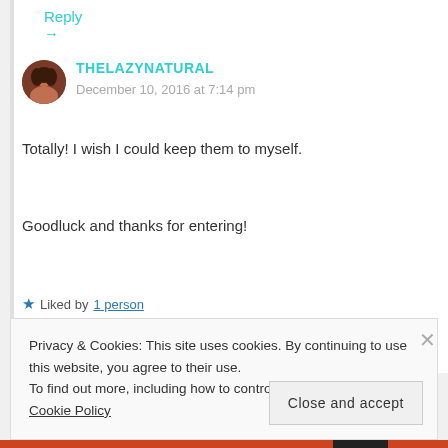Reply →
THELAZYNATURAL
December 10, 2016 at 7:14 pm
Totally! I wish I could keep them to myself.
Goodluck and thanks for entering!
★ Liked by 1 person
Privacy & Cookies: This site uses cookies. By continuing to use this website, you agree to their use.
To find out more, including how to control cookies, see here: Cookie Policy
Close and accept